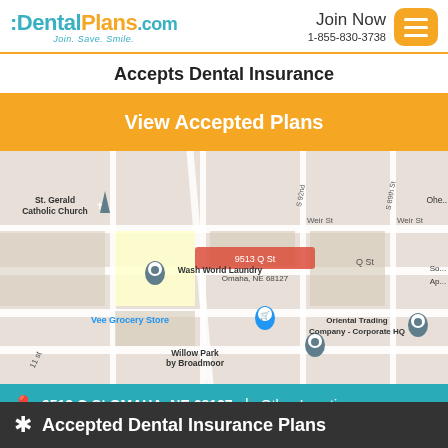DentalPlans.com | Join. Save. Smile. | Join Now 1-855-830-3738
Accepts Dental Insurance
View Accepted Plans
[Figure (map): Google Maps screenshot showing area around 9513 Q St Omaha NE 68127, with street labels including Weir St, Q St, R St, and landmarks: St. Gerald Catholic Church, Wash World Laundry, Vee Grocery Store, Willow Park by Broadmoor, Oriental Trading Company - Corporate HQ]
9513 Q St OMAHA, NE 68127 | Other Locations ▼
Accepted Dental Insurance Plans